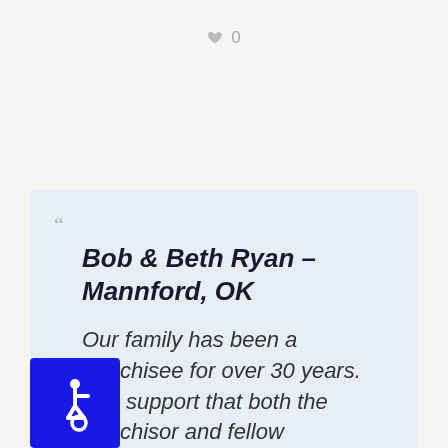♥ 0
Bob & Beth Ryan – Mannford, OK
Our family has been a franchisee for over 30 years. The support that both the franchisor and fellow franchisees offer goes above
[Figure (illustration): International Symbol of Access (wheelchair accessibility icon) — white wheelchair user symbol on a blue square background]